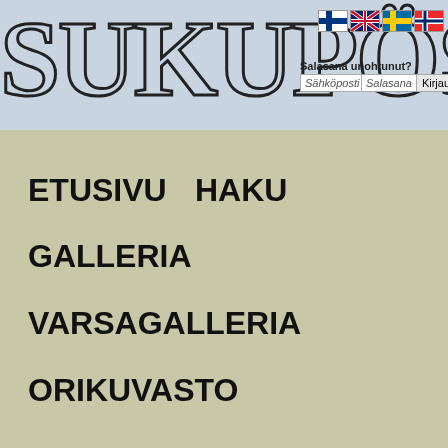[Figure (logo): SUKUPÖST stylized outline logo text in large decorative font]
[Figure (illustration): Four language flag icons: Finnish, British, Swedish, Norwegian/Danish]
Salasana unohtunut?
Sähköposti  Salasana  Kirjaudu
ETUSIVU
HAKU
GALLERIA
VARSAGALLERIA
ORIKUVASTO